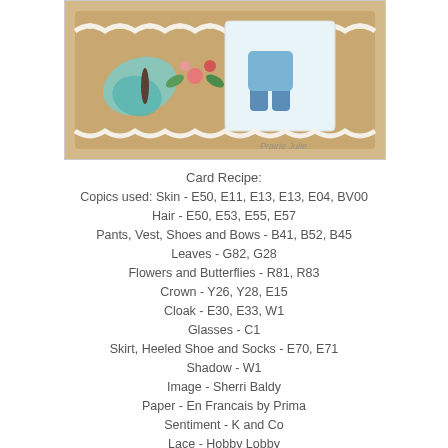[Figure (photo): A decorative handmade card featuring a character in blue clothing with a butterfly, flowers, and lace trim on a brown/woodgrain background.]
Card Recipe:
Copics used: Skin - E50, E11, E13, E13, E04, BV00
Hair - E50, E53, E55, E57
Pants, Vest, Shoes and Bows - B41, B52, B45
Leaves - G82, G28
Flowers and Butterflies - R81, R83
Crown - Y26, Y28, E15
Cloak - E30, E33, W1
Glasses - C1
Skirt, Heeled Shoe and Socks - E70, E71
Shadow - W1
Image - Sherri Baldy
Paper - En Francais by Prima
Sentiment - K and Co
Lace - Hobby Lobby
Corrugated Cardstock - Fancy Pants